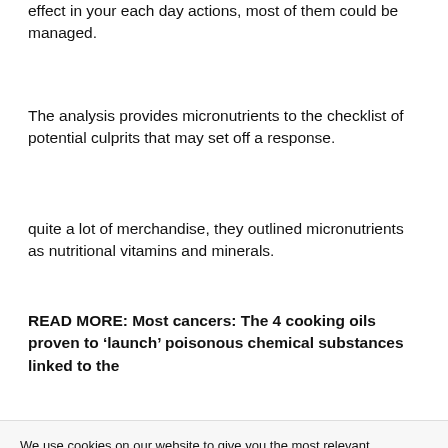effect in your each day actions, most of them could be managed.
The analysis provides micronutrients to the checklist of potential culprits that may set off a response.
quite a lot of merchandise, they outlined micronutrients as nutritional vitamins and minerals.
READ MORE: Most cancers: The 4 cooking oils proven to ‘launch’ poisonous chemical substances linked to the
We use cookies on our website to give you the most relevant experience by remembering your preferences and repeat visits. By clicking “Accept All”, you consent to the use of ALL the cookies. However, you may visit "Cookie Settings" to provide a controlled consent.